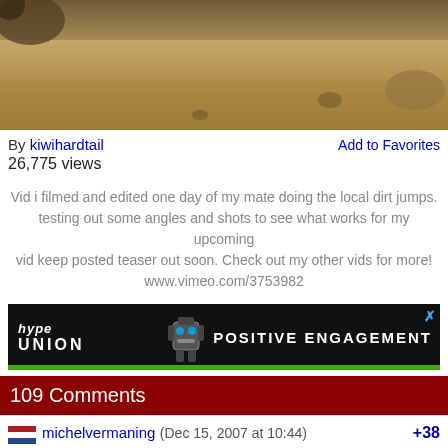[Figure (screenshot): Video thumbnail showing dirt/sandy ground, bike wheel visible, brown earthy tones]
By kiwihardtail   Add to Favorites
26,775 views
Vid i filmed and edited one day of my mate doing the local dirt jumps. testing out some angles and shots to see what works for my upcoming vid keep posted teaser out soon. Check out my other vids for more! www.vimeo.com/3753982
[Figure (screenshot): Advertisement banner: hype union POSITIVE ENGAGEMENT with robot graphic and green bar at bottom]
109 Comments
michelvermaning (Dec 15, 2007 at 10:44)   +38
nice park
kiwihardtail (Dec 15, 2007 at 12:48)   +22
thats my m8s backyard